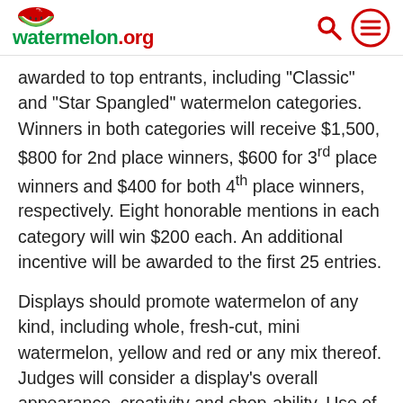watermelon.org
awarded to top entrants, including "Classic" and "Star Spangled" watermelon categories. Winners in both categories will receive $1,500, $800 for 2nd place winners, $600 for 3rd place winners and $400 for both 4th place winners, respectively. Eight honorable mentions in each category will win $200 each. An additional incentive will be awarded to the first 25 entries.
Displays should promote watermelon of any kind, including whole, fresh-cut, mini watermelon, yellow and red or any mix thereof. Judges will consider a display’s overall appearance, creativity and shop-ability. Use of point-of-sale materials and/or selection and